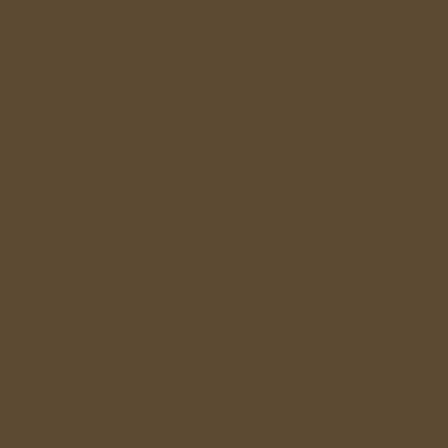http://porn1960s.adablog69.c...
malay porn site the hole jason porn videos
wandaum11 15.06.2020 10:3...
Girls of Desire: All babes in on...
http://lesbian.test.xblognetwor...
free fullength naruto porn vide... dimaggio porn indonisian free...
gretchenkx16 15.06.2020 09...
Browse over 500 000 of the be...
http://datingsingles.freegirlpor...
lessbian home made porn dire...
jaimepl60 15.06.2020 09:14
Free Porn Galleries - Hot Sex...
http://younglesbians.freepornv...
free full lungth porn movie cou...
*Имя: